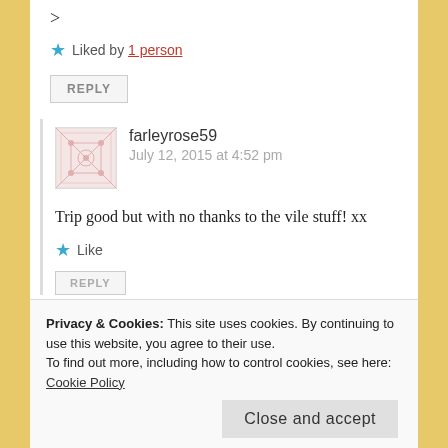>
★ Liked by 1 person
REPLY
farleyrose59
July 12, 2015 at 4:52 pm
Trip good but with no thanks to the vile stuff! xx
★ Like
REPLY
Privacy & Cookies: This site uses cookies. By continuing to use this website, you agree to their use.
To find out more, including how to control cookies, see here: Cookie Policy
Close and accept